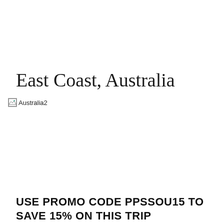East Coast, Australia
[Figure (photo): Broken image placeholder labeled 'Australia2']
USE PROMO CODE PPSSOU15 TO SAVE 15% ON THIS TRIP